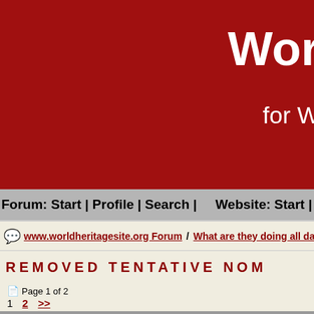[Figure (screenshot): Red header banner of worldheritagesite.org with partial site title 'Wor' in large white bold text and subtitle 'for W' below]
Forum: Start | Profile | Search |    Website: Start | The
www.worldheritagesite.org Forum / What are they doing all day in
REMOVED TENTATIVE NOM
Page 1 of 2
1  2  >>
#1  Posted: 9 May 2014 19:24
Edited by: winterkjm
winterkjm
Partaker
REMOVED Tentative Nominations Since 2012 (No